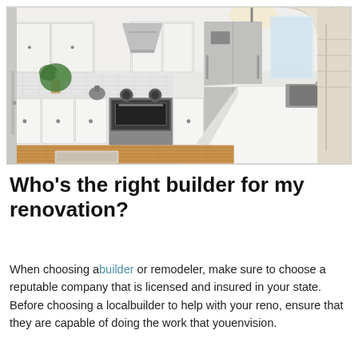[Figure (photo): A bright, modern white kitchen with stainless steel appliances including a gas range, refrigerator, range hood, and kitchen island with white quartz countertop. Pendant lights hang from the ceiling. Hardwood floors. Natural light.]
Who's the right builder for my renovation?
When choosing a builder or remodeler, make sure to choose a reputable company that is licensed and insured in your state. Before choosing a local builder to help with your reno, ensure that they are capable of doing the work that you envision.